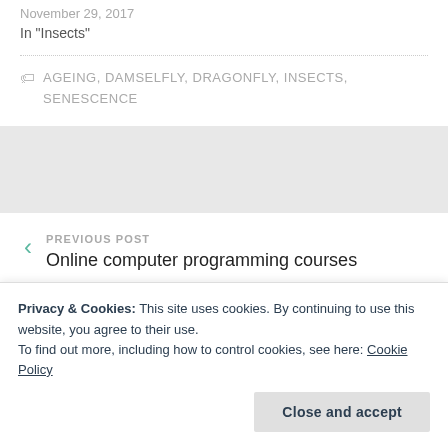In "Insects"
AGEING, DAMSELFLY, DRAGONFLY, INSECTS, SENESCENCE
PREVIOUS POST
Online computer programming courses
NEXT POST
Privacy & Cookies: This site uses cookies. By continuing to use this website, you agree to their use.
To find out more, including how to control cookies, see here: Cookie Policy
Close and accept